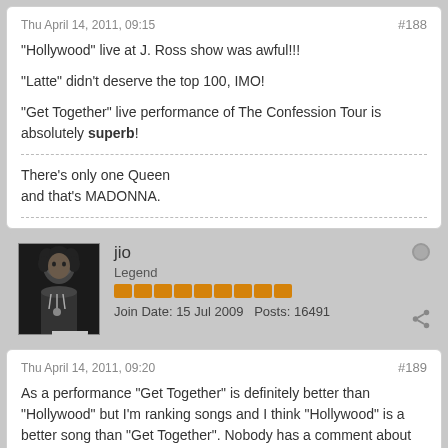Thu April 14, 2011, 09:15
#188
"Hollywood" live at J. Ross show was awful!!!
"Latte" didn't deserve the top 100, IMO!
"Get Together" live performance of The Confession Tour is absolutely superb!
There's only one Queen
and that's MADONNA.
[Figure (photo): Black and white photo of a person with curly hair and necklace]
jio
Legend
Join Date: 15 Jul 2009   Posts: 16491
Thu April 14, 2011, 09:20
#189
As a performance "Get Together" is definitely better than "Hollywood" but I'm ranking songs and I think "Hollywood" is a better song than "Get Together". Nobody has a comment about that performance of "Everybody"?